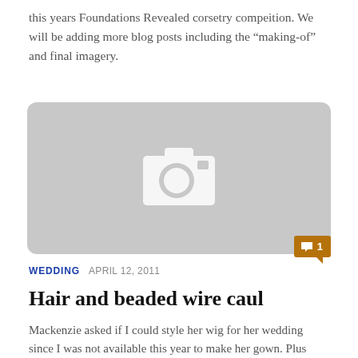this years Foundations Revealed corsetry compeition. We will be adding more blog posts including the “making-of” and final imagery.
[Figure (photo): Image placeholder with a camera icon on a light grey rounded rectangle background, with a comment badge showing '1' in the bottom right corner.]
WEDDING   APRIL 12, 2011
Hair and beaded wire caul
Mackenzie asked if I could style her wig for her wedding since I was not available this year to make her gown. Plus